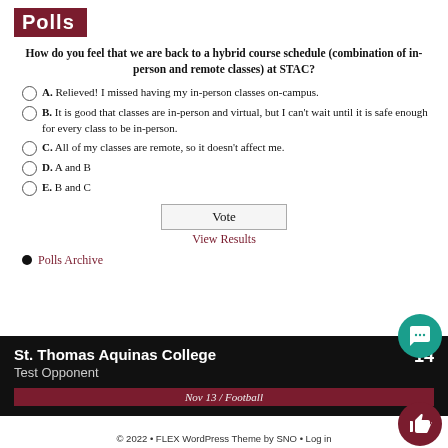Polls
How do you feel that we are back to a hybrid course schedule (combination of in-person and remote classes) at STAC?
A. Relieved! I missed having my in-person classes on-campus.
B. It is good that classes are in-person and virtual, but I can't wait until it is safe enough for every class to be in-person.
C. All of my classes are remote, so it doesn't affect me.
D. A and B
E. B and C
Vote
View Results
Polls Archive
St. Thomas Aquinas College
Test Opponent
Nov 13 / Football
© 2022 • FLEX WordPress Theme by SNO • Log in